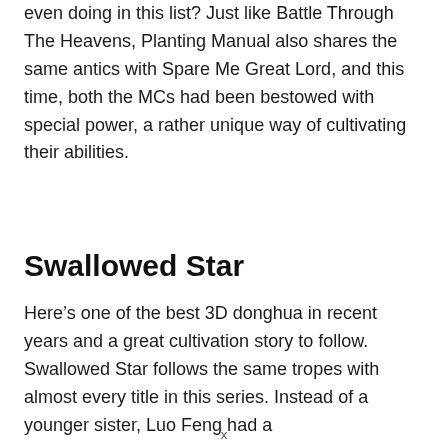even doing in this list? Just like Battle Through The Heavens, Planting Manual also shares the same antics with Spare Me Great Lord, and this time, both the MCs had been bestowed with special power, a rather unique way of cultivating their abilities.
Swallowed Star
Here’s one of the best 3D donghua in recent years and a great cultivation story to follow. Swallowed Star follows the same tropes with almost every title in this series. Instead of a younger sister, Luo Feng had a
x